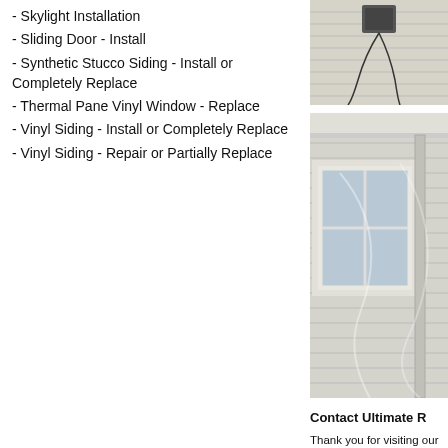- Skylight Installation
- Sliding Door - Install
- Synthetic Stucco Siding - Install or Completely Replace
- Thermal Pane Vinyl Window - Replace
- Vinyl Siding - Install or Completely Replace
- Vinyl Siding - Repair or Partially Replace
[Figure (photo): Photo of exterior siding with mounted equipment (satellite dish or sensor) visible against light-colored vinyl siding]
[Figure (photo): Photo of house exterior showing white vinyl siding, a window with white trim, and roof overhang/soffit detail]
Contact Ultimate R
Thank you for visiting our stucco home products...